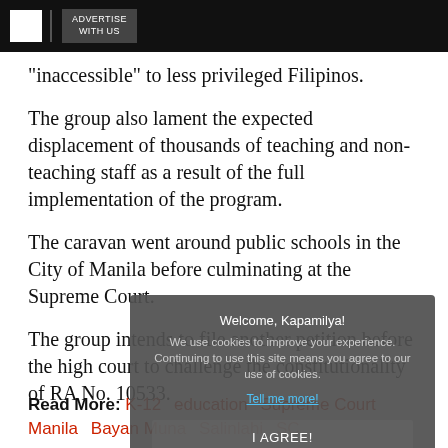ADVERTISE WITH US
"inaccessible" to less privileged Filipinos.
The group also lament the expected displacement of thousands of teaching and non-teaching staff as a result of the full implementation of the program.
The caravan went around public schools in the City of Manila before culminating at the Supreme Court.
The group intends to file another petition before the high court to challenge the constitutionality of RA No. 10533.
[Figure (screenshot): Cookie consent overlay with text 'Welcome, Kapamilya! We use cookies to improve your experience. Continuing to use this site means you agree to our use of cookies.' with a 'Tell me more!' link and 'I AGREE!' button.]
Read More: K-12 education Supreme Court Manila Bayan Muna Salinlahi SC